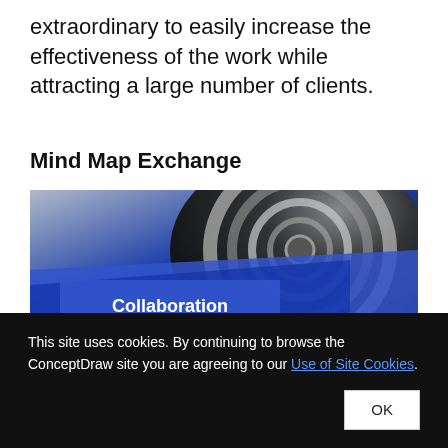extraordinary to easily increase the effectiveness of the work while attracting a large number of clients.
Mind Map Exchange
[Figure (photo): Close-up photo of a dark spherical object with concentric rings and a blue band, with an overlaid blue rectangle containing the word 'Collaboration' in bold white text.]
This site uses cookies. By continuing to browse the ConceptDraw site you are agreeing to our Use of Site Cookies.